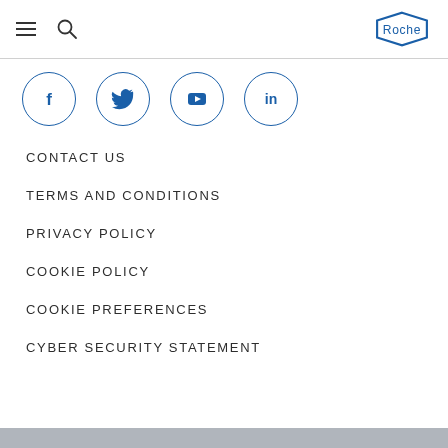Roche navigation header with hamburger menu, search icon, and Roche logo
[Figure (illustration): Four social media icons in blue circles: Facebook (f), Twitter (bird), YouTube (play button), LinkedIn (in)]
CONTACT US
TERMS AND CONDITIONS
PRIVACY POLICY
COOKIE POLICY
COOKIE PREFERENCES
CYBER SECURITY STATEMENT